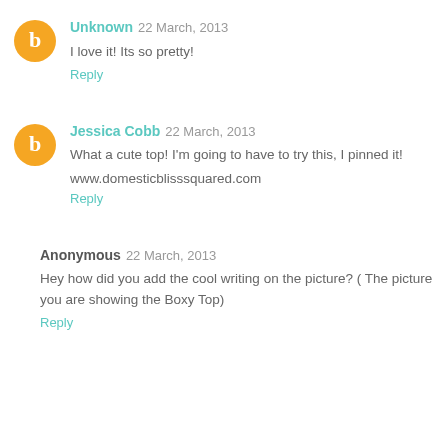Unknown 22 March, 2013
I love it! Its so pretty!
Reply
Jessica Cobb 22 March, 2013
What a cute top! I'm going to have to try this, I pinned it!
www.domesticblisssquared.com
Reply
Anonymous 22 March, 2013
Hey how did you add the cool writing on the picture? ( The picture you are showing the Boxy Top)
Reply